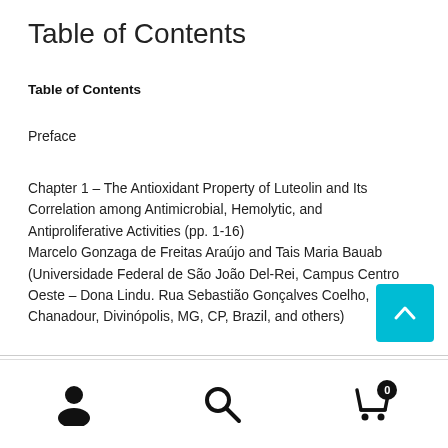Table of Contents
Table of Contents
Preface
Chapter 1 – The Antioxidant Property of Luteolin and Its Correlation among Antimicrobial, Hemolytic, and Antiproliferative Activities (pp. 1-16)
Marcelo Gonzaga de Freitas Araújo and Tais Maria Bauab (Universidade Federal de São João Del-Rei, Campus Centro Oeste – Dona Lindu. Rua Sebastião Gonçalves Coelho, Chanadour, Divinópolis, MG, CP, Brazil, and others)
navigation icons: user, search, cart (0)